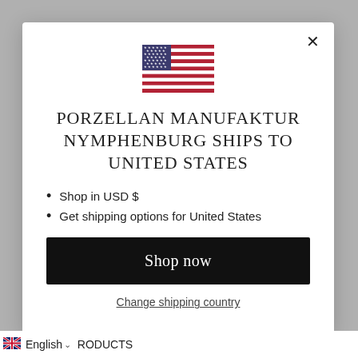[Figure (illustration): US flag emoji/icon centered in modal]
PORZELLAN MANUFAKTUR NYMPHENBURG SHIPS TO UNITED STATES
Shop in USD $
Get shipping options for United States
Shop now
Change shipping country
English  RODUCTS